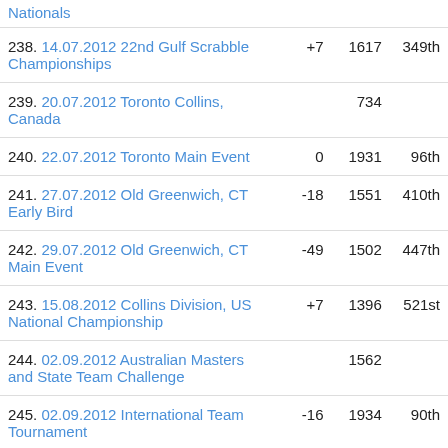| #. Event | Change | Rating | Rank |
| --- | --- | --- | --- |
| Nationals (partial top) |  |  |  |
| 238. 14.07.2012 22nd Gulf Scrabble Championships | +7 | 1617 | 349th |
| 239. 20.07.2012 Toronto Collins, Canada |  | 734 |  |
| 240. 22.07.2012 Toronto Main Event | 0 | 1931 | 96th |
| 241. 27.07.2012 Old Greenwich, CT Early Bird | -18 | 1551 | 410th |
| 242. 29.07.2012 Old Greenwich, CT Main Event | -49 | 1502 | 447th |
| 243. 15.08.2012 Collins Division, US National Championship | +7 | 1396 | 521st |
| 244. 02.09.2012 Australian Masters and State Team Challenge |  | 1562 |  |
| 245. 02.09.2012 International Team Tournament | -16 | 1934 | 90th |